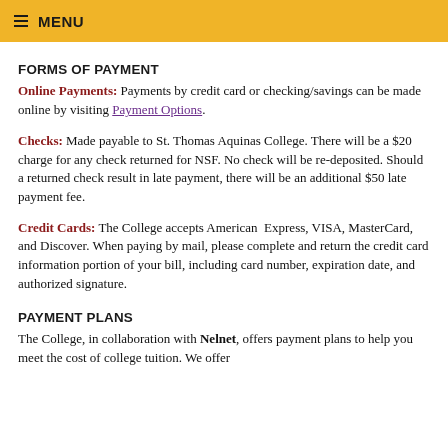≡ MENU
FORMS OF PAYMENT
Online Payments: Payments by credit card or checking/savings can be made online by visiting Payment Options.
Checks: Made payable to St. Thomas Aquinas College. There will be a $20 charge for any check returned for NSF. No check will be re-deposited. Should a returned check result in late payment, there will be an additional $50 late payment fee.
Credit Cards: The College accepts American Express, VISA, MasterCard, and Discover. When paying by mail, please complete and return the credit card information portion of your bill, including card number, expiration date, and authorized signature.
PAYMENT PLANS
The College, in collaboration with Nelnet, offers payment plans to help you meet the cost of college tuition. We offer